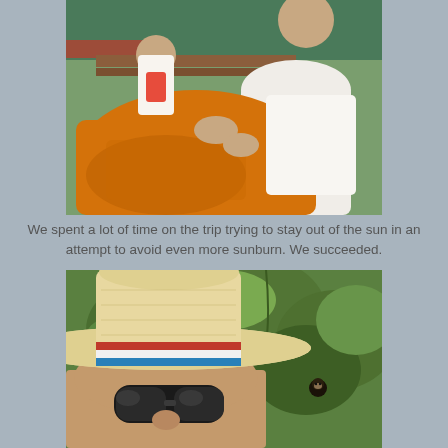[Figure (photo): Two people sitting on a boat, one wearing an orange/golden wrap garment and the other in a white shirt, viewed from above at close range, with a green railing visible in the background.]
We spent a lot of time on the trip trying to stay out of the sun in an attempt to avoid even more sunburn. We succeeded.
[Figure (photo): A selfie of a person wearing a straw hat with colorful stripes (red, white, blue) and sunglasses, with lush green jungle vegetation in the background and a small dark monkey visible in the foliage.]